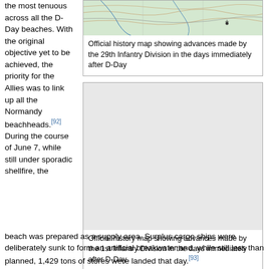the most tenuous across all the D-Day beaches. With the original objective yet to be achieved, the priority for the Allies was to link up all the Normandy beachheads.[92] During the course of June 7, while still under sporadic shellfire, the beach was prepared as a supply area. Surplus cargo ships were deliberately sunk to form an artificial breakwater and, while still less than planned, 1,429 tons of stores were landed that day.[93]
[Figure (map): Official history map showing advances made by the 29th Infantry Division in the days immediately after D-Day]
Official history map showing advances made by the 29th Infantry Division in the days immediately after D-Day
[Figure (map): Official history map showing advances made by the 1st Infantry Division in the days immediately after D-Day]
Official history map showing advances made by the 1st Infantry Division in the days immediately after D-Day